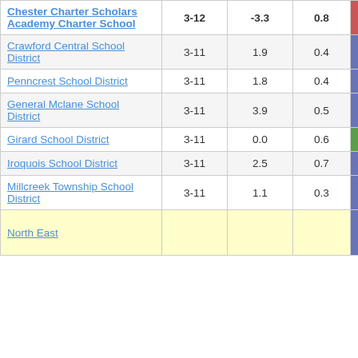| School/District | Grades | Col3 | Col4 | Score |
| --- | --- | --- | --- | --- |
| Chester Charter Scholars Academy Charter School | 3-12 | -3.3 | 0.8 | -3.92 |
| Crawford Central School District | 3-11 | 1.9 | 0.4 | 4.77 |
| Penncrest School District | 3-11 | 1.8 | 0.4 | 3.94 |
| General Mclane School District | 3-11 | 3.9 | 0.5 | 7.89 |
| Girard School District | 3-11 | 0.0 | 0.6 | 0.04 |
| Iroquois School District | 3-11 | 2.5 | 0.7 | 3.81 |
| Millcreek Township School District | 3-11 | 1.1 | 0.3 | 3.51 |
| North East |  |  |  |  |